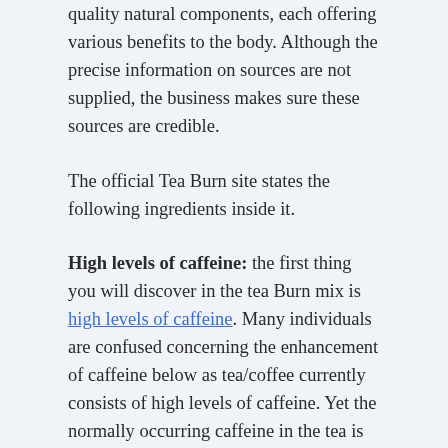quality natural components, each offering various benefits to the body. Although the precise information on sources are not supplied, the business makes sure these sources are credible.
The official Tea Burn site states the following ingredients inside it.
High levels of caffeine: the first thing you will discover in the tea Burn mix is high levels of caffeine. Many individuals are confused concerning the enhancement of caffeine below as tea/coffee currently consists of high levels of caffeine. Yet the normally occurring caffeine in the tea is inadequate to launch the weight-loss effects, which is why additional high levels of caffeine is much required.